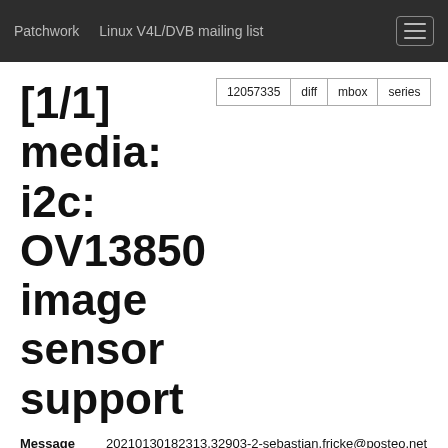Patchwork  Linux V4L/DVB mailing list
[1/1] media: i2c: OV13850 image sensor support
| Field | Value |
| --- | --- |
| Message ID | 20210130182313.32903-2-sebastian.fricke@posteo.net (mailing list archive) |
| State | New, archived |
| Headers | show |
| Series | OV13850 image sensor driver | expand |
Commit Message
Sebastian Fricke   Jan. 30, 2021, 6:23 p.m. UTC
This driver adds support for the OV13850 image sensor initially ported from the Rockship BSP tree and furtl